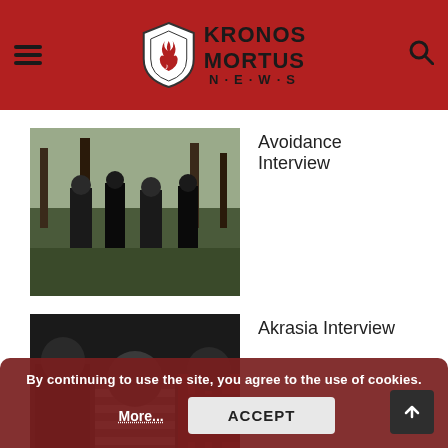Kronos Mortus News
Avoidance Interview
[Figure (photo): Band photo showing several people standing outdoors among trees, wearing dark clothing]
Akrasia Interview
[Figure (photo): Band photo showing three people in dark setting, front person wearing striped sweater]
[Figure (photo): Partially visible band photo at bottom of page, obscured by cookie banner]
By continuing to use the site, you agree to the use of cookies.
More...
ACCEPT